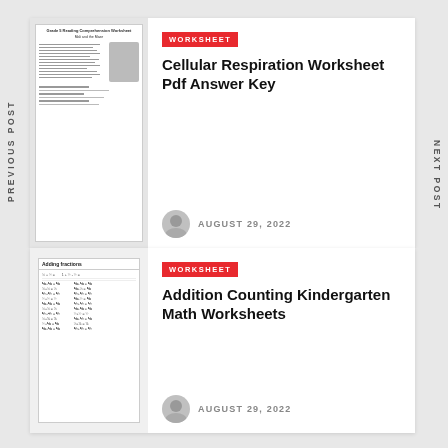PREVIOUS POST
[Figure (screenshot): Thumbnail of Grade 5 Reading Comprehension Worksheet about Mali and the Maze]
WORKSHEET
Cellular Respiration Worksheet Pdf Answer Key
AUGUST 29, 2022
[Figure (screenshot): Thumbnail of Adding Fractions worksheet with fraction equations in grid layout]
WORKSHEET
Addition Counting Kindergarten Math Worksheets
AUGUST 29, 2022
NEXT POST